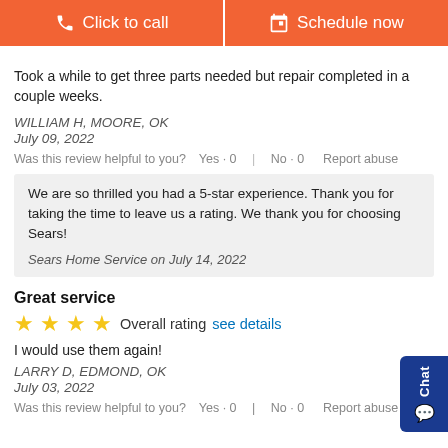[Figure (other): Two orange call-to-action buttons: 'Click to call' with phone icon and 'Schedule now' with calendar icon]
Took a while to get three parts needed but repair completed in a couple weeks.
WILLIAM H, MOORE, OK
July 09, 2022
Was this review helpful to you?  Yes · 0  |  No · 0  Report abuse
We are so thrilled you had a 5-star experience. Thank you for taking the time to leave us a rating. We thank you for choosing Sears!

Sears Home Service on July 14, 2022
Great service
[Figure (other): 4 yellow stars — Overall rating  see details]
I would use them again!
LARRY D, EDMOND, OK
July 03, 2022
Was this review helpful to you?  Yes · 0  |  No · 0  Report abuse